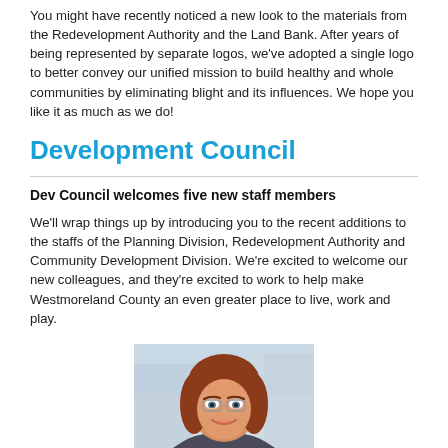You might have recently noticed a new look to the materials from the Redevelopment Authority and the Land Bank. After years of being represented by separate logos, we've adopted a single logo to better convey our unified mission to build healthy and whole communities by eliminating blight and its influences. We hope you like it as much as we do!
Development Council
Dev Council welcomes five new staff members
We'll wrap things up by introducing you to the recent additions to the staffs of the Planning Division, Redevelopment Authority and Community Development Division. We're excited to welcome our new colleagues, and they're excited to work to help make Westmoreland County an even greater place to live, work and play.
[Figure (photo): Headshot photo of a woman with red/auburn hair and glasses, smiling, in an office or indoor setting]